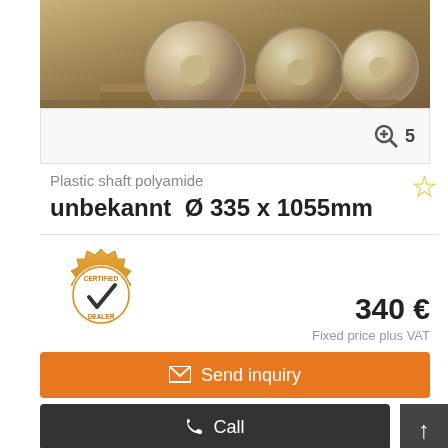[Figure (photo): Photo of large white cylindrical plastic polyamide shafts/rolls stacked on a wooden pallet in an industrial warehouse setting]
🔍+ 5
Plastic shaft polyamide
unbekannt  Ø 335 x 1055mm
[Figure (logo): Certified Dealer badge - gold gear shape with checkmark and text CERTIFIED DEALER]
340 €
Fixed price plus VAT
✉ Send inquiry
📞 Call
Wiefelstede, Germany 🇩🇪
(dealership location)
FEEDBACK